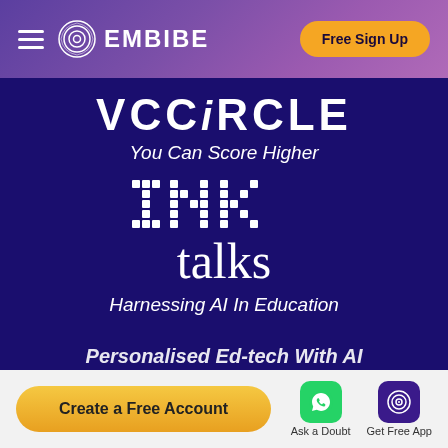[Figure (screenshot): Embibe website navbar with hamburger menu, spiral logo, EMBIBE text, and Free Sign Up button on purple gradient background]
[Figure (screenshot): Dark blue main content area showing VCCiRCLE logo, 'You Can Score Higher' tagline, INK talks logo with pixel/dot font, 'Harnessing AI In Education' subtitle, and partially visible 'Personalised Ed-tech With AI' text]
[Figure (screenshot): Footer bar with 'Create a Free Account' yellow button, WhatsApp 'Ask a Doubt' icon, and Embibe 'Get Free App' icon]